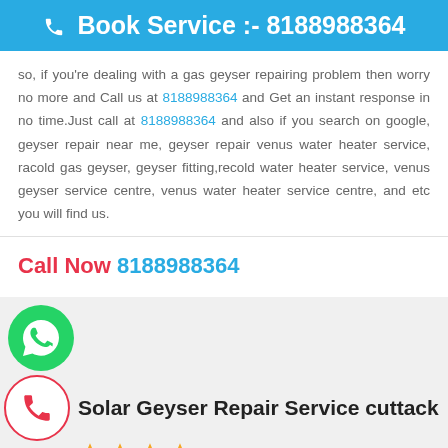☎ Book Service :- 8188988364
so, if you're dealing with a gas geyser repairing problem then worry no more and Call us at 8188988364 and Get an instant response in no time.Just call at 8188988364 and also if you search on google, geyser repair near me, geyser repair venus water heater service, racold gas geyser, geyser fitting,recold water heater service, venus geyser service centre, venus water heater service centre, and etc you will find us.
Call Now 8188988364
[Figure (logo): WhatsApp green circle icon with phone handset]
Solar Geyser Repair Service cuttack
[Figure (illustration): Star rating icons (partially shown)]